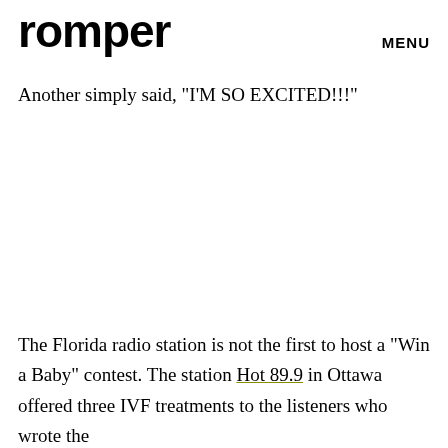romper   MENU
Another simply said, "I'M SO EXCITED!!!"
The Florida radio station is not the first to host a "Win a Baby" contest. The station Hot 89.9 in Ottawa offered three IVF treatments to the listeners who wrote the